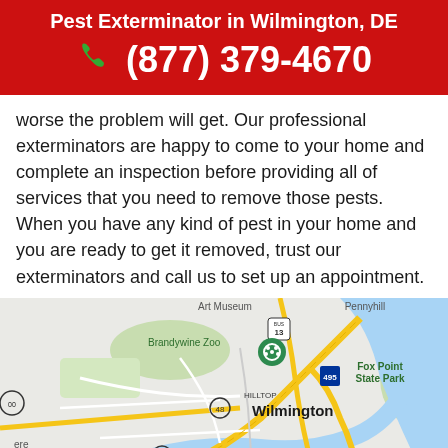Pest Exterminator in Wilmington, DE
(877) 379-4670
worse the problem will get. Our professional exterminators are happy to come to your home and complete an inspection before providing all of services that you need to remove those pests. When you have any kind of pest in your home and you are ready to get it removed, trust our exterminators and call us to set up an appointment.
[Figure (map): Google Maps view of Wilmington, DE showing Brandywine Zoo, Fox Point State Park, Hilltop neighborhood, Ashley, and surrounding roads including I-95, Route 13, Route 495, and the Christina River/Delaware River waterway.]